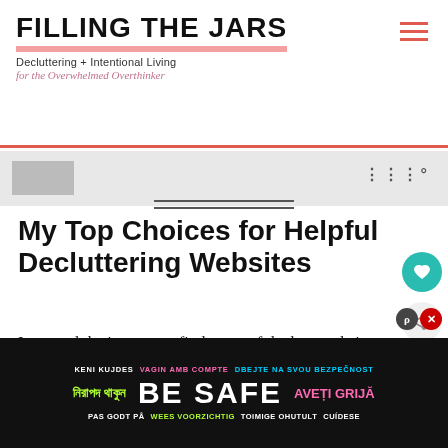FILLING THE JARS — Decluttering + Intentional Living for the Overwhelmed Overthinker
[Figure (screenshot): Ad strip with placeholder boxes and icon]
My Top Choices for Helpful Decluttering Websites
I scoured the internet to find some of the best websites that offer some powerful decluttering tips and tricks. I want not only heavy hitters that I know you can rely
[Figure (infographic): Bottom ad banner: BE SAFE multilingual safety advertisement]